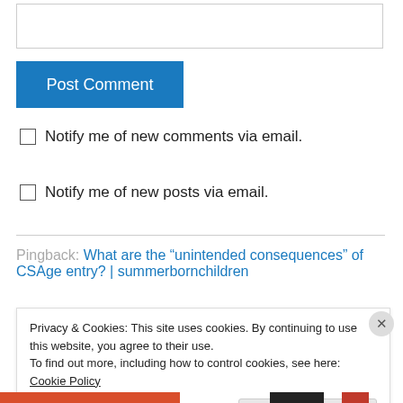[Figure (other): Empty text input box for comment entry]
Post Comment
Notify me of new comments via email.
Notify me of new posts via email.
Pingback: What are the “unintended consequences” of CSAge entry? | summerbornchildren
Privacy & Cookies: This site uses cookies. By continuing to use this website, you agree to their use.
To find out more, including how to control cookies, see here: Cookie Policy
Close and accept